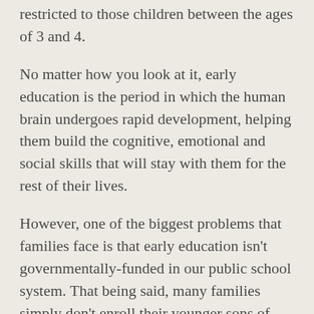restricted to those children between the ages of 3 and 4.
No matter how you look at it, early education is the period in which the human brain undergoes rapid development, helping them build the cognitive, emotional and social skills that will stay with them for the rest of their lives.
However, one of the biggest problems that families face is that early education isn't governmentally-funded in our public school system. That being said, many families simply don't enroll their younger sons of daughters into these type of programs, leaving their child at a severe disadvantage when it comes time to enrolling them into the public school system.
Finding the Right Early Education Solution
Giving your child the opportunity to develop, grow and build a foundation for success later on in life